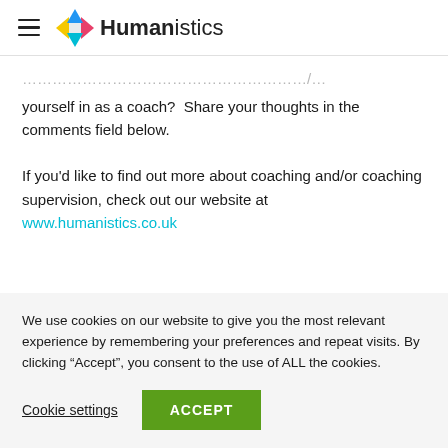Humanistics
yourself in as a coach?  Share your thoughts in the comments field below.

If you'd like to find out more about coaching and/or coaching supervision, check out our website at www.humanistics.co.uk
We use cookies on our website to give you the most relevant experience by remembering your preferences and repeat visits. By clicking “Accept”, you consent to the use of ALL the cookies.